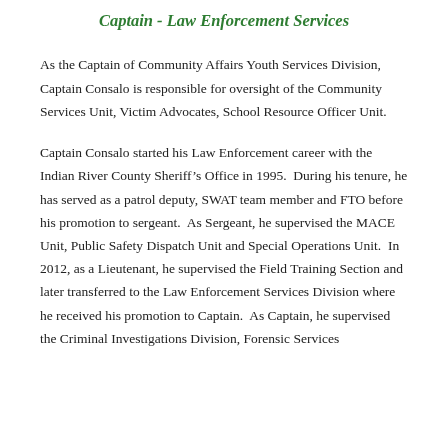Captain - Law Enforcement Services
As the Captain of Community Affairs Youth Services Division, Captain Consalo is responsible for oversight of the Community Services Unit, Victim Advocates, School Resource Officer Unit.
Captain Consalo started his Law Enforcement career with the Indian River County Sheriff’s Office in 1995. During his tenure, he has served as a patrol deputy, SWAT team member and FTO before his promotion to sergeant. As Sergeant, he supervised the MACE Unit, Public Safety Dispatch Unit and Special Operations Unit. In 2012, as a Lieutenant, he supervised the Field Training Section and later transferred to the Law Enforcement Services Division where he received his promotion to Captain. As Captain, he supervised the Criminal Investigations Division, Forensic Services